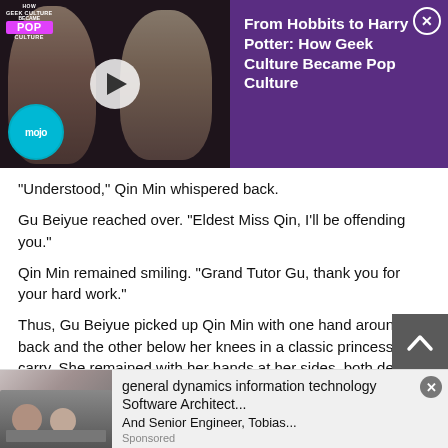[Figure (screenshot): Video ad banner with purple background. Left: thumbnail showing two faces (Frodo and Harry Potter) with play button and WatchMojo logo. Right: white text title on purple background with close button.]
From Hobbits to Harry Potter: How Geek Culture Became Pop Culture
"Understood," Qin Min whispered back.
Gu Beiyue reached over. "Eldest Miss Qin, I'll be offending you."
Qin Min remained smiling. "Grand Tutor Gu, thank you for your hard work."
Thus, Gu Beiyue picked up Qin Min with one hand around her back and the other below her knees in a classic princess carry. She remained with her hands at her sides, both demure yet nervous. Her entire body was stiff, a sensation clear to herself and Gu Beiyue. Her eyes drooped as her brows creased tensely.
As soon as he emerged from the carriage, he stepped on air and landed gently on the ground. Placing her in the wheelchair, he happ... ked away. H... as
[Figure (screenshot): Bottom advertisement: image of office workers on left, text 'general dynamics information technology Software Architect... And Senior Engineer, Tobias...' with Sponsored label and close button.]